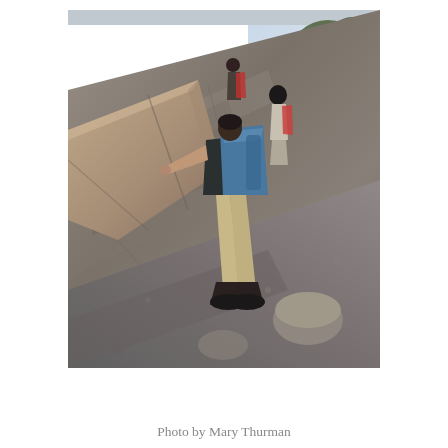[Figure (photo): Hikers climbing up a steep rocky face on a trail. The foreground figure wears khaki pants, dark hiking boots, and carries a blue backpack, pressing one hand against the rock face. Additional hikers are visible above in the upper portion of the image. Trees with green foliage are visible in the upper right background against a bright sky.]
Photo by Mary Thurman